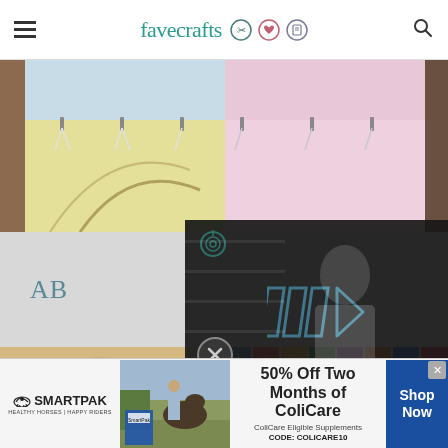favecrafts — navigation header with hamburger menu, logo, icons, and search
[Figure (photo): Quilted fabric panels in light blue, yellow, and pink pinned on a clothesline or drying rack]
AB
[Figure (screenshot): Video player overlay showing play button arrows and mute button icon on dark background, with a person in a craft studio]
[Figure (photo): Bottom row showing two partial photos: left is a beige/floral fabric close-up, right is a colorful patchwork quilt]
[Figure (infographic): Advertisement banner for SmartPak: 50% Off Two Months of ColiCare, ColiCare Eligible Supplements, CODE: COLICARE10, with Shop Now button]